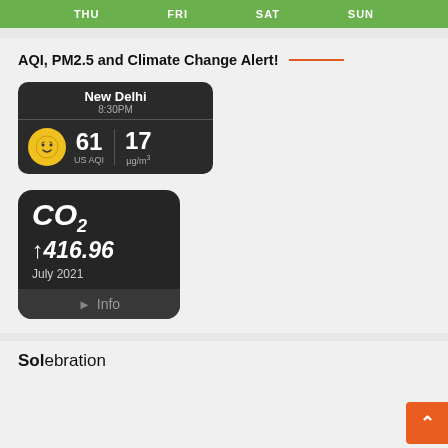| THU | FRI | SAT | SUN |
| --- | --- | --- | --- |
AQI, PM2.5 and Climate Change Alert!
[Figure (screenshot): AQI widget showing New Delhi at 8:30PM with US AQI of 61 and PM2.5 of 17 µg/m³, dark background with yellow face icon]
[Figure (screenshot): CO2 widget showing CO2 ↑416.96 July 2021 with Info button, dark rounded square background]
Celebration